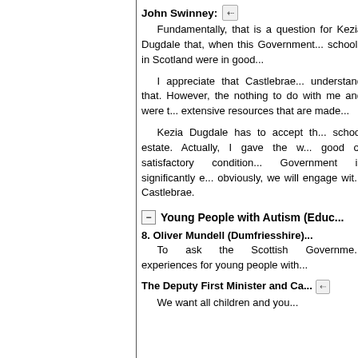John Swinney: Fundamentally, that is a question for Kezia Dugdale that, when this Government... schools in Scotland were in good...
I appreciate that Castlebrae... understand that. However, the... nothing to do with me and were t... extensive resources that are made...
Kezia Dugdale has to accept th... school estate. Actually, I gave the w... good or satisfactory condition... Government is significantly e... obviously, we will engage wit... Castlebrae.
Young People with Autism (Educ...
8. Oliver Mundell (Dumfriesshire)... To ask the Scottish Governme... experiences for young people with...
The Deputy First Minister and Ca... We want all children and you...